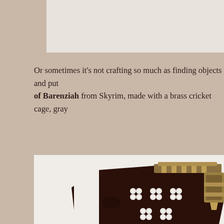That's a very nice birthday you have t
Or sometimes it's not crafting so much as finding objects and put... the Crown of Barenziah from Skyrim, made with a brass cricket cage, gray...
[Figure (photo): A dark wooden decorative box or cage with brass metallic fittings. The object features quatrefoil-shaped cutout holes on its dark wooden body and ornate brass/gold colored hardware at the top and sides. The photograph is taken against a white background.]